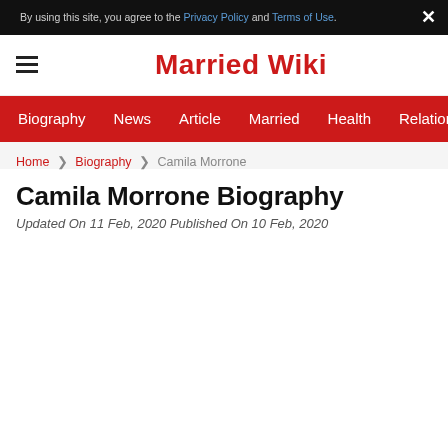By using this site, you agree to the Privacy Policy and Terms of Use.
Married Wiki
Biography  News  Article  Married  Health  Relationship  Ga
Home > Biography > Camila Morrone
Camila Morrone Biography
Updated On 11 Feb, 2020 Published On 10 Feb, 2020